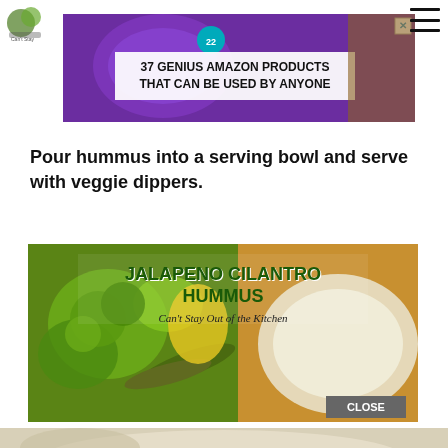[Figure (screenshot): Advertisement banner: purple headphones on wooden surface with text '37 GENIUS AMAZON PRODUCTS THAT CAN BE USED BY ANYONE' in white box, with close X button and badge showing 22]
Pour hummus into a serving bowl and serve with veggie dippers.
[Figure (photo): Promotional image for Jalapeno Cilantro Hummus recipe from 'Can't Stay Out of the Kitchen' showing vegetables (broccoli, zucchini, yellow peppers) with a bowl of hummus, with a CLOSE button in bottom right]
[Figure (photo): Partial bottom food photograph showing hummus or dip]